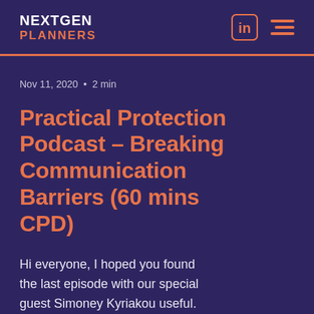NEXTGEN PLANNERS
Nov 11, 2020 · 2 min
Practical Protection Podcast – Breaking Communication Barriers (60 mins CPD)
Hi everyone, I hoped you found the last episode with our special guest Simoney Kyriakou useful. We spoke about the good and